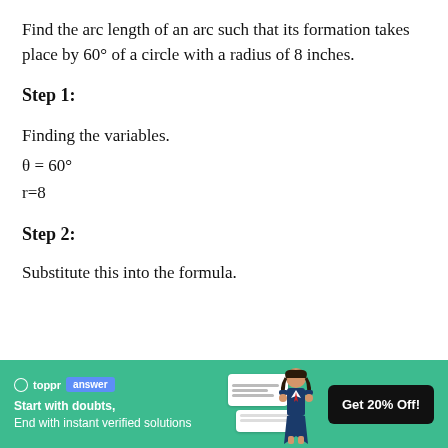Find the arc length of an arc such that its formation takes place by 60° of a circle with a radius of 8 inches.
Step 1:
Finding the variables.
θ = 60°
r=8
Step 2:
Substitute this into the formula.
[Figure (infographic): Toppr answer app advertisement banner with green background, showing logo, tagline 'Start with doubts, End with instant verified solutions', a student illustration, and 'Get 20% Off!' button.]